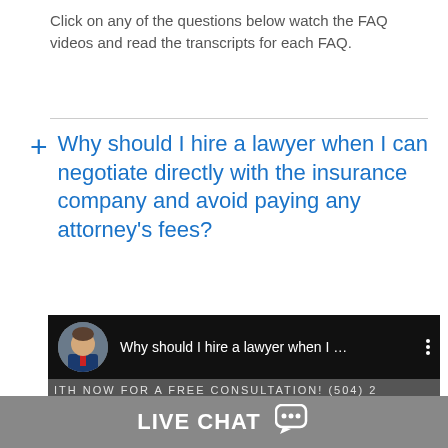Click on any of the questions below watch the FAQ videos and read the transcripts for each FAQ.
+ Why should I hire a lawyer when I can negotiate directly with the insurance company and avoid paying any attorney’s fees?
[Figure (screenshot): Video thumbnail showing a lawyer FAQ video titled 'Why should I hire a lawyer when I ...' with a male attorney avatar, a consultation phone number banner reading 'ITH NOW FOR A FREE CONSULTATION! (504) 2', a dark blue video body area with a chat widget and online agent photo.]
LIVE CHAT